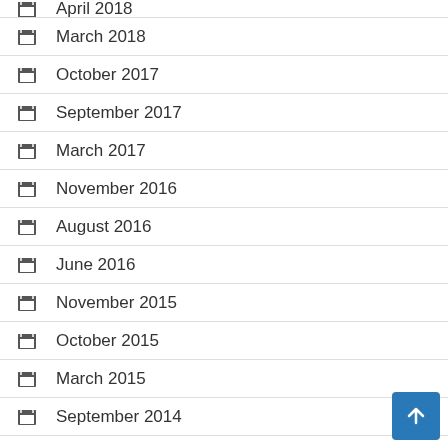April 2018 (partial, top cut off)
March 2018
October 2017
September 2017
March 2017
November 2016
August 2016
June 2016
November 2015
October 2015
March 2015
September 2014
April 2014
March 2014 (partial, bottom cut off)